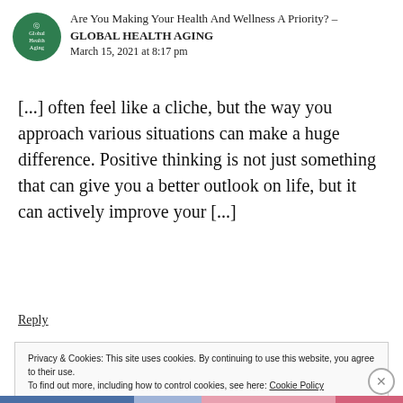Are You Making Your Health And Wellness A Priority? – GLOBAL HEALTH AGING
March 15, 2021 at 8:17 pm
[...] often feel like a cliche, but the way you approach various situations can make a huge difference. Positive thinking is not just something that can give you a better outlook on life, but it can actively improve your [...]
Reply
Privacy & Cookies: This site uses cookies. By continuing to use this website, you agree to their use.
To find out more, including how to control cookies, see here: Cookie Policy